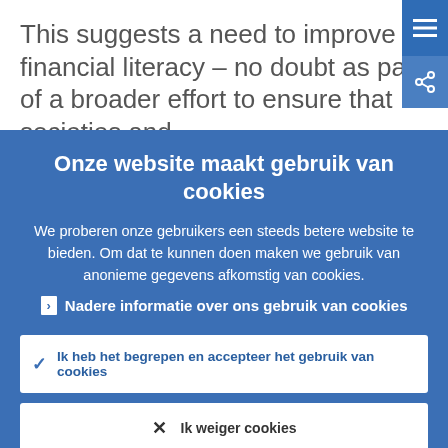This suggests a need to improve financial literacy – no doubt as part of a broader effort to ensure that societies and
Onze website maakt gebruik van cookies
We proberen onze gebruikers een steeds betere website te bieden. Om dat te kunnen doen maken we gebruik van anonieme gegevens afkomstig van cookies.
▸ Nadere informatie over ons gebruik van cookies
✓ Ik heb het begrepen en accepteer het gebruik van cookies
✕ Ik weiger cookies